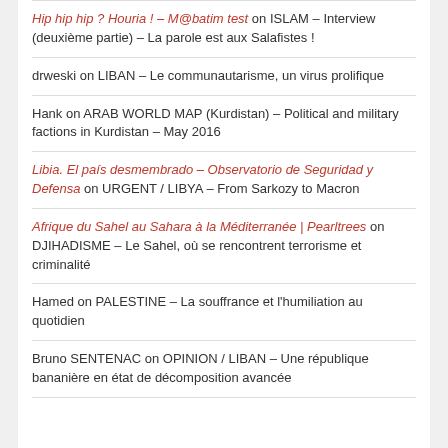Hip hip hip ? Houria ! – M@batim test on ISLAM – Interview (deuxième partie) – La parole est aux Salafistes !
drweski on LIBAN – Le communautarisme, un virus prolifique
Hank on ARAB WORLD MAP (Kurdistan) – Political and military factions in Kurdistan – May 2016
Libia. El país desmembrado – Observatorio de Seguridad y Defensa on URGENT / LIBYA – From Sarkozy to Macron
Afrique du Sahel au Sahara à la Méditerranée | Pearltrees on DJIHADISME – Le Sahel, où se rencontrent terrorisme et criminalité
Hamed on PALESTINE – La souffrance et l'humiliation au quotidien
Bruno SENTENAC on OPINION / LIBAN – Une république bananière en état de décomposition avancée